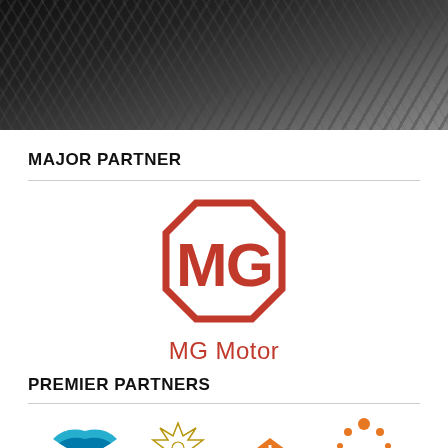[Figure (photo): Dark hero image at top of page, appears to show a dark textured or animal fur background]
MAJOR PARTNER
[Figure (logo): MG Motor logo — red octagonal shape with stylized MG letters inside, and text MG Motor below]
PREMIER PARTNERS
[Figure (logo): Row of premier partner logos: Aqualand, Crown Resorts, a house/food icon, Ingenia Holiday]